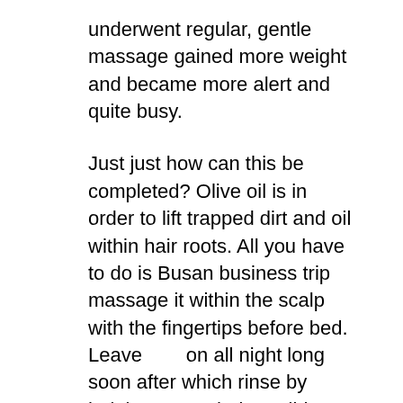underwent regular, gentle massage gained more weight and became more alert and quite busy.
Just just how can this be completed? Olive oil is in order to lift trapped dirt and oil within hair roots. All you have to do is Busan business trip massage it within the scalp with the fingertips before bed. Leave      on all night long soon after which rinse by helping cover their a mild shampoo.
Cash Have a small cash reserve of couple of hundred dollars, especially if your trip usually takes you far into the uk. There’s nothing more awkward than pumping 80 litres of petrol into the car only to find the service station’s credit card machine is on the blink or, worse yet, that they just don’t even have one.